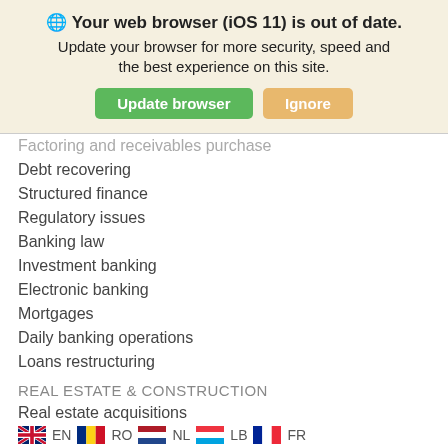[Figure (screenshot): Browser warning banner: 'Your web browser (iOS 11) is out of date. Update your browser for more security, speed and the best experience on this site.' with Update browser (green) and Ignore (gold) buttons.]
Factoring and receivables purchase
Debt recovering
Structured finance
Regulatory issues
Banking law
Investment banking
Electronic banking
Mortgages
Daily banking operations
Loans restructuring
REAL ESTATE & CONSTRUCTION
Real estate acquisitions
Real estate transactions
Due diligence
EN  RO  NL  LB  FR